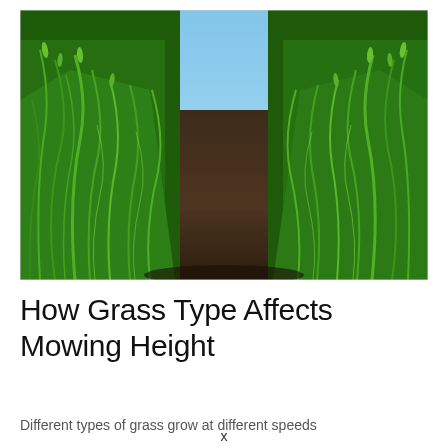[Figure (photo): Close-up photograph of tall green grass growing on either side of a narrow dirt path, taken from a low angle, with a clear blue sky visible in the upper portion of the image.]
How Grass Type Affects Mowing Height
Different types of grass grow at different speeds